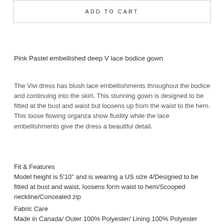ADD TO CART
Pink Pastel embellished deep V lace bodice gown
The Vivi dress has blush lace embellishments throughout the bodice and continuing into the skirt. This stunning gown is designed to be fitted at the bust and waist but loosens up from the waist to the hem. This loose flowing organza show fluidity while the lace embellishments give the dress a beautiful detail.
Fit & Features
Model height is 5'10" and is wearing a US size 4/Designed to be fitted at bust and waist, loosens form waist to hem/Scooped neckline/Concealed zip
Fabric Care
Made in Canada/ Outer 100% Polyester/ Lining 100% Polyester